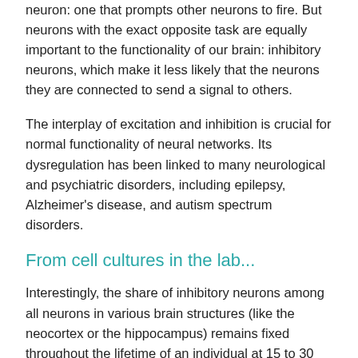neuron: one that prompts other neurons to fire. But neurons with the exact opposite task are equally important to the functionality of our brain: inhibitory neurons, which make it less likely that the neurons they are connected to send a signal to others.
The interplay of excitation and inhibition is crucial for normal functionality of neural networks. Its dysregulation has been linked to many neurological and psychiatric disorders, including epilepsy, Alzheimer's disease, and autism spectrum disorders.
From cell cultures in the lab...
Interestingly, the share of inhibitory neurons among all neurons in various brain structures (like the neocortex or the hippocampus) remains fixed throughout the lifetime of an individual at 15 to 30 percent. “This prompted our